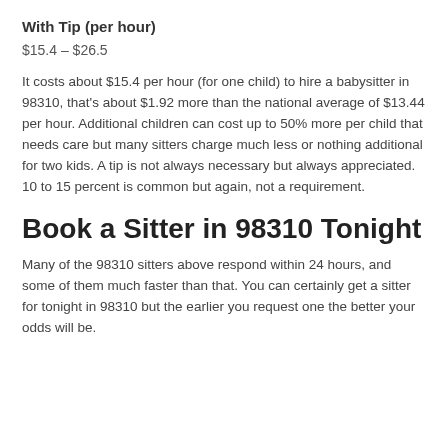With Tip (per hour)
$15.4 – $26.5
It costs about $15.4 per hour (for one child) to hire a babysitter in 98310, that's about $1.92 more than the national average of $13.44 per hour. Additional children can cost up to 50% more per child that needs care but many sitters charge much less or nothing additional for two kids. A tip is not always necessary but always appreciated. 10 to 15 percent is common but again, not a requirement.
Book a Sitter in 98310 Tonight
Many of the 98310 sitters above respond within 24 hours, and some of them much faster than that. You can certainly get a sitter for tonight in 98310 but the earlier you request one the better your odds will be.